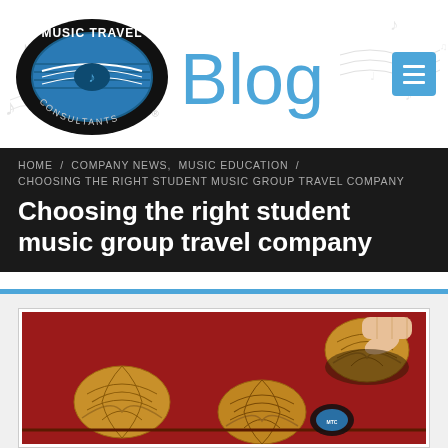[Figure (logo): Music Travel Consultants circular logo with blue globe design]
Blog
HOME / COMPANY NEWS, MUSIC EDUCATION / CHOOSING THE RIGHT STUDENT MUSIC GROUP TRAVEL COMPANY
Choosing the right student music group travel company
[Figure (photo): Photo of walnuts on red background, one being cracked open by a hand, with Music Travel Consultants logo watermark]